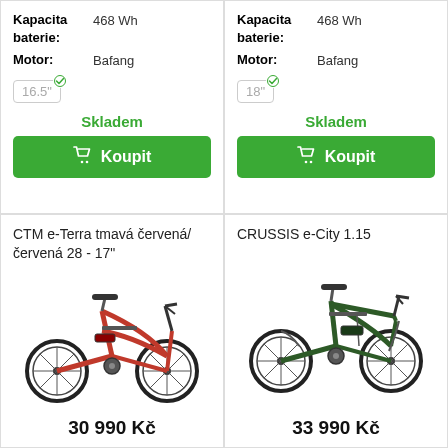Kapacita baterie: 468 Wh
Motor: Bafang
16.5"
Skladem
Koupit
Kapacita baterie: 468 Wh
Motor: Bafang
18"
Skladem
Koupit
CTM e-Terra tmavá červená/červená 28 - 17"
[Figure (photo): Red CTM e-Terra electric bicycle, step-through frame, side view]
30 990 Kč
CRUSSIS e-City 1.15
[Figure (photo): Dark green CRUSSIS e-City 1.15 electric city bicycle, side view]
33 990 Kč